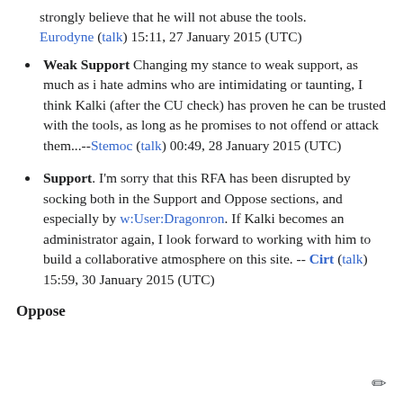strongly believe that he will not abuse the tools. Eurodyne (talk) 15:11, 27 January 2015 (UTC)
Weak Support Changing my stance to weak support, as much as i hate admins who are intimidating or taunting, I think Kalki (after the CU check) has proven he can be trusted with the tools, as long as he promises to not offend or attack them...--Stemoc (talk) 00:49, 28 January 2015 (UTC)
Support. I'm sorry that this RFA has been disrupted by socking both in the Support and Oppose sections, and especially by w:User:Dragonron. If Kalki becomes an administrator again, I look forward to working with him to build a collaborative atmosphere on this site. -- Cirt (talk) 15:59, 30 January 2015 (UTC)
Oppose